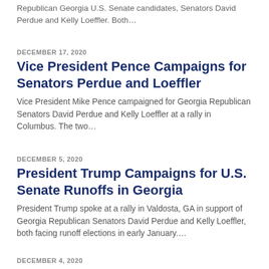Republican Georgia U.S. Senate candidates, Senators David Perdue and Kelly Loeffler. Both…
DECEMBER 17, 2020
Vice President Pence Campaigns for Senators Perdue and Loeffler
Vice President Mike Pence campaigned for Georgia Republican Senators David Perdue and Kelly Loeffler at a rally in Columbus. The two…
DECEMBER 5, 2020
President Trump Campaigns for U.S. Senate Runoffs in Georgia
President Trump spoke at a rally in Valdosta, GA in support of Georgia Republican Senators David Perdue and Kelly Loeffler, both facing runoff elections in early January….
DECEMBER 4, 2020